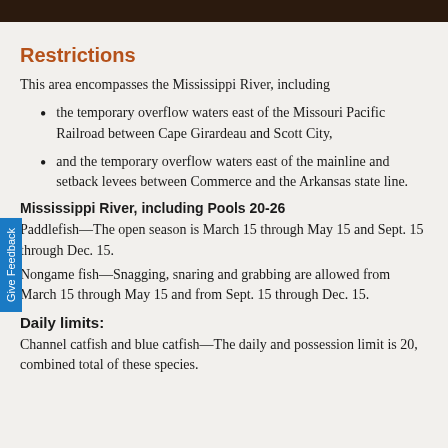Restrictions
This area encompasses the Mississippi River, including
the temporary overflow waters east of the Missouri Pacific Railroad between Cape Girardeau and Scott City,
and the temporary overflow waters east of the mainline and setback levees between Commerce and the Arkansas state line.
Mississippi River, including Pools 20-26
Paddlefish—The open season is March 15 through May 15 and Sept. 15 through Dec. 15.
Nongame fish—Snagging, snaring and grabbing are allowed from March 15 through May 15 and from Sept. 15 through Dec. 15.
Daily limits:
Channel catfish and blue catfish—The daily and possession limit is 20, combined total of these species.